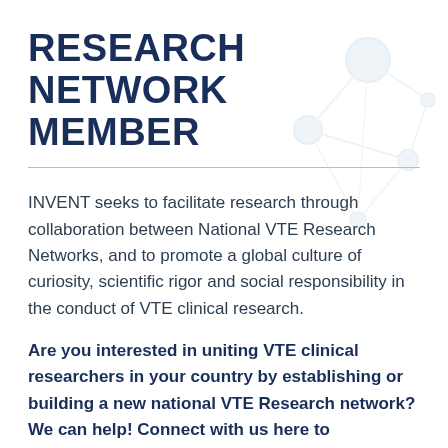RESEARCH NETWORK MEMBER
INVENT seeks to facilitate research through collaboration between National VTE Research Networks, and to promote a global culture of curiosity, scientific rigor and social responsibility in the conduct of VTE clinical research.
Are you interested in uniting VTE clinical researchers in your country by establishing or building a new national VTE Research network? We can help! Connect with us here to